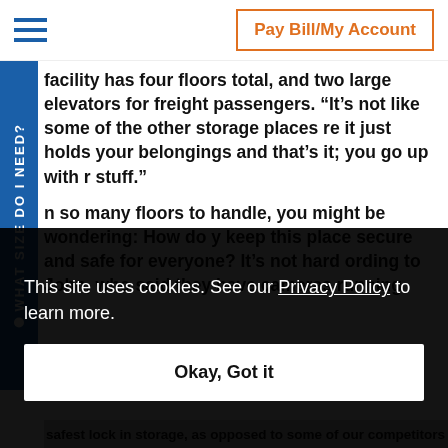Pay Bill/My Account
facility has four floors total, and two large elevators for freight passengers. “It’s not like some of the other storage places re it just holds your belongings and that’s it; you go up with r stuff.”
n so many floors to handle, you might be wondering: How do y keep this place secure and safe for everyone? It’s not hard ording to John, who said they have cameras running
wn
y for
also
ou have
e
WHAT SIZE DO I NEED?
This site uses cookies. See our Privacy Policy to learn more.
Okay, Got it
safest lock in storage, as opposed to some of our competitors